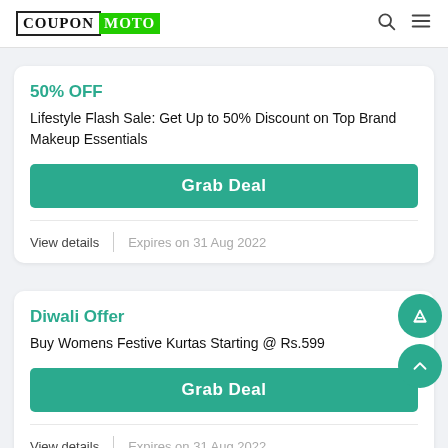COUPON MOTO
50% OFF
Lifestyle Flash Sale: Get Up to 50% Discount on Top Brand Makeup Essentials
Grab Deal
View details | Expires on 31 Aug 2022
Diwali Offer
Buy Womens Festive Kurtas Starting @ Rs.599
Grab Deal
View details | Expires on 31 Aug 2022